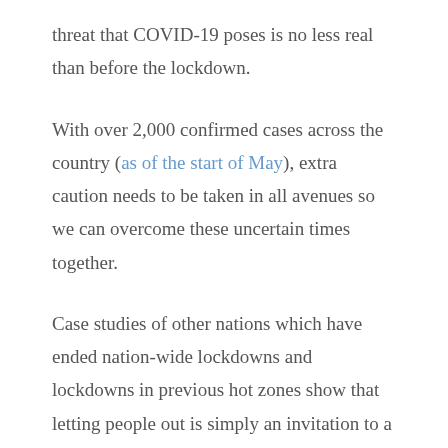threat that COVID-19 poses is no less real than before the lockdown.
With over 2,000 confirmed cases across the country (as of the start of May), extra caution needs to be taken in all avenues so we can overcome these uncertain times together.
Case studies of other nations which have ended nation-wide lockdowns and lockdowns in previous hot zones show that letting people out is simply an invitation to a new battle as the number of identified cases inevitably rises. It's a tough situation, but together, we can